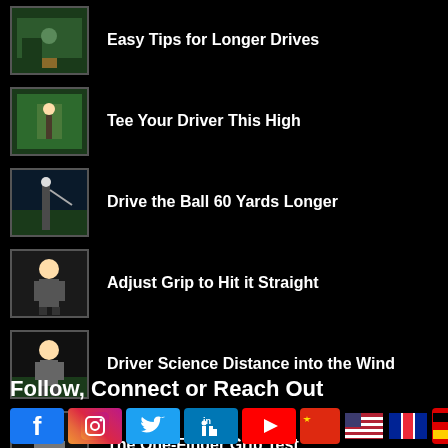Easy Tips for Longer Drives
Tee Your Driver This High
Drive the Ball 60 Yards Longer
Adjust Grip to Hit it Straight
Driver Science Distance into the Wind
The One-Finger Grip Test
Follow, Connect or Reach Out
[Figure (illustration): Row of social media icons: Facebook, Instagram, Twitter, LinkedIn, YouTube, and flag/language icons for Chinese, English, French, German, Japanese, Spanish plus Google+]